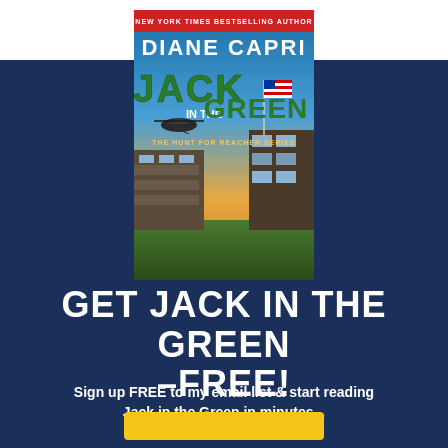[Figure (illustration): Book cover of 'Jack in the Green' by Diane Capri, The Hunt for Reacher Series. Cover shows a military helicopter, a building with an American flag, sunset sky background. Bold green title text 'JACK IN THE GREEN'.]
GET JACK IN THE GREEN –FREE!
Sign up FREE to my email list & start reading Jack in the Green in minutes...